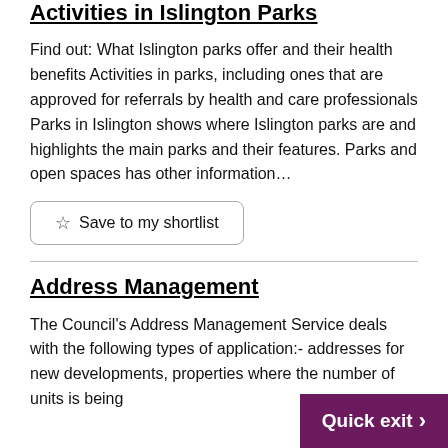Activities in Islington Parks
Find out: What Islington parks offer and their health benefits Activities in parks, including ones that are approved for referrals by health and care professionals Parks in Islington shows where Islington parks are and highlights the main parks and their features. Parks and open spaces has other information...
Save to my shortlist
Address Management
The Council's Address Management Service deals with the following types of application:- addresses for new developments, properties where the number of units is being